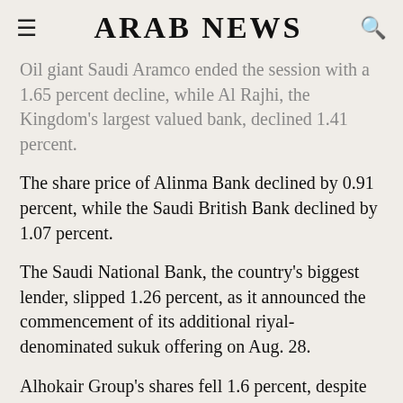ARAB NEWS
Oil giant Saudi Aramco ended the session with a 1.65 percent decline, while Al Rajhi, the Kingdom's largest valued bank, declined 1.41 percent.
The share price of Alinma Bank declined by 0.91 percent, while the Saudi British Bank declined by 1.07 percent.
The Saudi National Bank, the country's biggest lender, slipped 1.26 percent, as it announced the commencement of its additional riyal-denominated sukuk offering on Aug. 28.
Alhokair Group's shares fell 1.6 percent, despite managing to cut down its losses by 49 percent